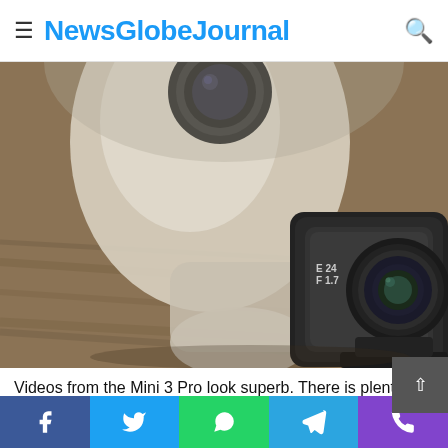NewsGlobeJournal
[Figure (photo): Close-up photo of DJI Mini 3 Pro drone camera showing two lenses — a white/cream colored body with a round lens on top, and a dark rectangular gimbal camera labeled E24 F1.7, sitting on a wooden surface.]
Videos from the Mini 3 Pro look superb. There is plenty of detail across a multitude of lighting conditions. DJI says that it uses the
Social share buttons: Facebook, Twitter, WhatsApp, Telegram, Phone